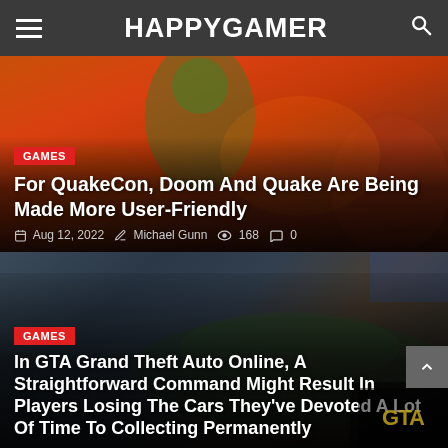HAPPYGAMER
[Figure (photo): Gaming article card with action figure background (Doom/Quake themed, orange/red game art), showing a tag GAMES, article title, and metadata]
For QuakeCon, Doom And Quake Are Being Made More User-Friendly
Aug 12, 2022  Michael Gunn  168  0
[Figure (photo): Gaming article card with GTA car background (dark green sports car, GTA Online art), showing a tag GAMES and article title]
In GTA Grand Theft Auto Online, A Straightforward Command Might Result In Players Losing The Cars They've Devoted A Lot Of Time To Collecting Permanently